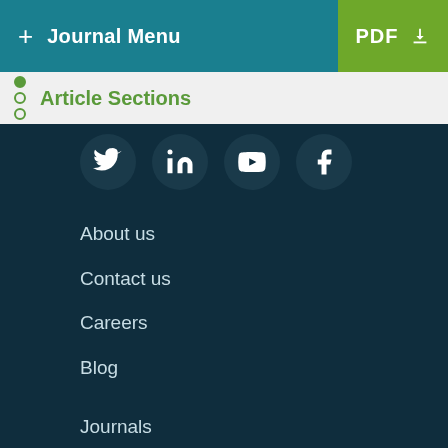+ Journal Menu | PDF
Article Sections
[Figure (screenshot): Social media icons: Twitter, LinkedIn, YouTube, Facebook on dark background]
About us
Contact us
Careers
Blog
Journals
Article Processing Charges
Print editions
Authors